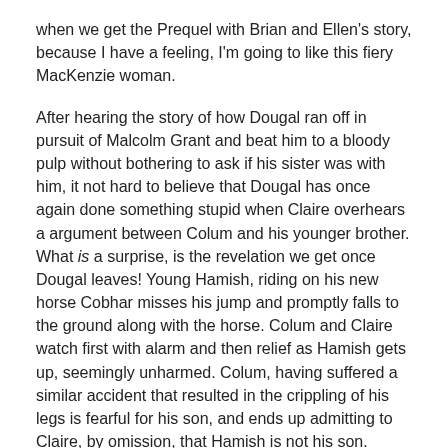when we get the Prequel with Brian and Ellen's story, because I have a feeling, I'm going to like this fiery MacKenzie woman.
After hearing the story of how Dougal ran off in pursuit of Malcolm Grant and beat him to a bloody pulp without bothering to ask if his sister was with him, it not hard to believe that Dougal has once again done something stupid when Claire overhears a argument between Colum and his younger brother. What is a surprise, is the revelation we get once Dougal leaves! Young Hamish, riding on his new horse Cobhar misses his jump and promptly falls to the ground along with the horse. Colum and Claire watch first with alarm and then relief as Hamish gets up, seemingly unharmed. Colum, having suffered a similar accident that resulted in the crippling of his legs is fearful for his son, and ends up admitting to Claire, by omission, that Hamish is not his son.